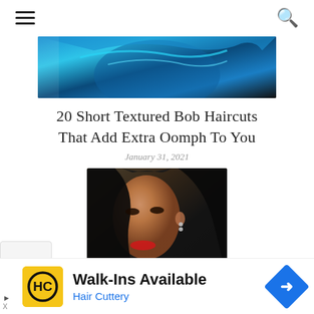≡  🔍
[Figure (photo): Top portion of a person's head with bright blue/teal dyed hair, partially visible]
20 Short Textured Bob Haircuts That Add Extra Oomph To You
January 31, 2021
[Figure (photo): Woman with straight black hair, red lipstick, and ear piercings, looking sideways]
Walk-Ins Available
Hair Cuttery